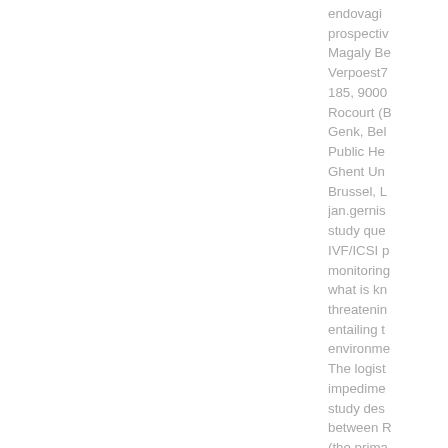endovagi... prospectiv... Magaly Be... Verpoest7... 185, 9000... Rocourt (B... Genk, Bel... Public He... Ghent Un... Brussel, L... jan.gernis... study que... IVF/ICSI p... monitoring... what is kn... threatenin... entailing t... environme... The logist... impedime... study des... between R... (the prima...